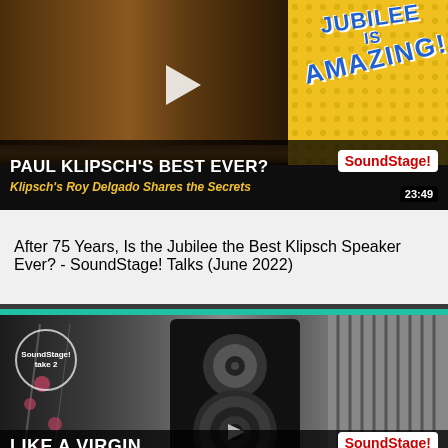[Figure (screenshot): YouTube video thumbnail showing a wooden cabinet with speaker, yellow dot-pattern background with 'JUBILEE IS AMAZING!' text in blue, white play button, and overlay text 'PAUL KLIPSCH'S BEST EVER? Klipsch's Roy Delgado Shares the Secrets' with SoundStage! logo badge and duration 23:49]
After 75 Years, Is the Jubilee the Best Klipsch Speaker Ever? - SoundStage! Talks (June 2022)
[Figure (screenshot): YouTube video thumbnail showing a black-and-white speaker (Simaudio Moon Voice 22 Loudspeaker) with cherry blossom decoration, teal bar at top, SoundStage! Take 2 watermark circle, play button, and overlay text 'LIKE A VIRGIN Simaudio Moon Voice 22 Loudspeaker' with SoundStage! logo badge and duration 17:28]